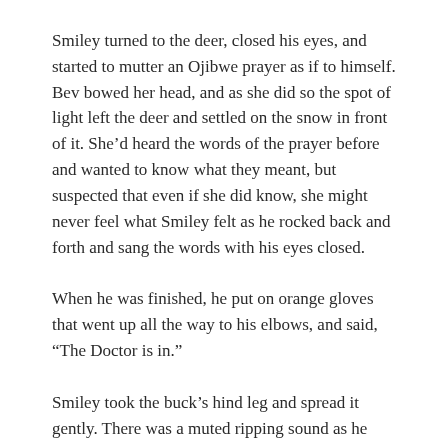Smiley turned to the deer, closed his eyes, and started to mutter an Ojibwe prayer as if to himself. Bev bowed her head, and as she did so the spot of light left the deer and settled on the snow in front of it. She'd heard the words of the prayer before and wanted to know what they meant, but suspected that even if she did know, she might never feel what Smiley felt as he rocked back and forth and sang the words with his eyes closed.
When he was finished, he put on orange gloves that went up all the way to his elbows, and said, “The Doctor is in.”
Smiley took the buck’s hind leg and spread it gently. There was a muted ripping sound as he made the first cut into the hide. Steam rose from the cut and dissinated.